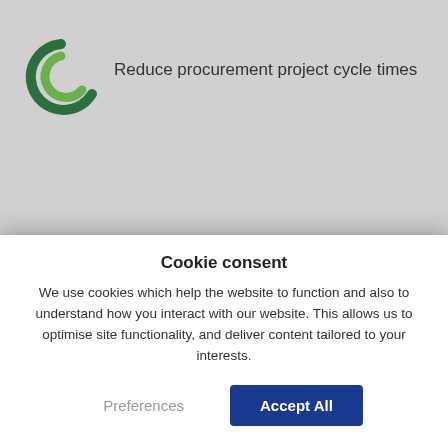[Figure (logo): Green circular arrow/refresh icon (partially visible at top)]
Reduce procurement project cycle times
[Figure (logo): Brakes logo - green leaf symbol with 'brakes' text in green, 'a Sysco company' subtitle]
Cookie consent
We use cookies which help the website to function and also to understand how you interact with our website. This allows us to optimise site functionality, and deliver content tailored to your interests.
Preferences | Accept All